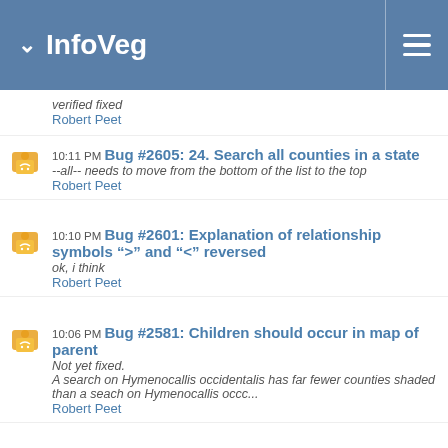InfoVeg
verified fixed
Robert Peet
10:11 PM Bug #2605: 24. Search all counties in a state
--all-- needs to move from the bottom of the list to the top
Robert Peet
10:10 PM Bug #2601: Explanation of relationship symbols “>” and “<” reversed
ok, i think
Robert Peet
10:06 PM Bug #2581: Children should occur in map of parent
Not yet fixed.
A search on Hymenocallis occidentalis has far fewer counties shaded than a seach on Hymenocallis occc...
Robert Peet
09:57 PM Bug #2613: 32. Trilliaceae (Missing)
verified fixed
Robert Peet
09:55 PM Bug #2625: 44. Bug resolved
never a real bug here
Robert Peet
09:55 PM Bug #2620: 39. Bug resolved